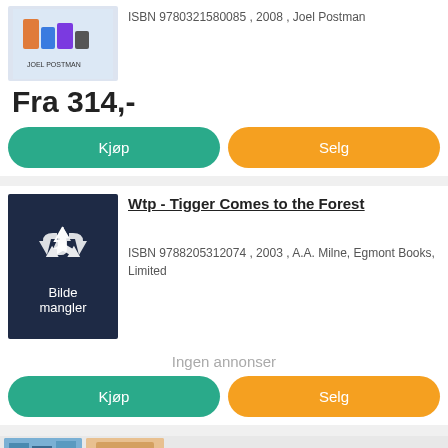ISBN 9780321580085 , 2008 , Joel Postman
Fra 314,-
Kjøp
Selg
Wtp - Tigger Comes to the Forest
ISBN 9788205312074 , 2003 , A.A. Milne, Egmont Books, Limited
[Figure (illustration): Dark navy blue placeholder image with recycling/arrow icon and text 'Bilde mangler']
Ingen annonser
Kjøp
Selg
[Figure (photo): Partial thumbnails of book covers visible at bottom of page]